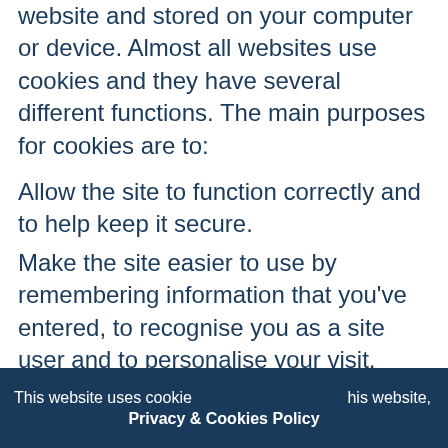website and stored on your computer or device. Almost all websites use cookies and they have several different functions. The main purposes for cookies are to:
Allow the site to function correctly and to help keep it secure.
Make the site easier to use by remembering information that you’ve entered, to recognise you as a site user and to personalise your visit.
Collect basic information about the way you have used the site.
The cookies may also allow Brunsfeld to record additional information on the webpages you have visited and the
This website uses cookies. By continuing to use this website, Privacy & Cookies Policy